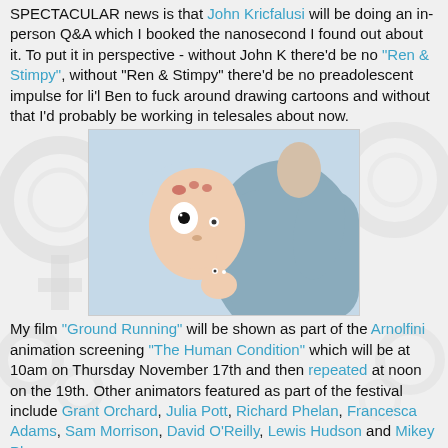SPECTACULAR news is that John Kricfalusi will be doing an in-person Q&A which I booked the nanosecond I found out about it. To put it in perspective - without John K there'd be no "Ren & Stimpy", without "Ren & Stimpy" there'd be no preadolescent impulse for li'l Ben to fuck around drawing cartoons and without that I'd probably be working in telesales about now.
[Figure (illustration): Cartoon illustration showing an animated character being grabbed or held by a larger figure. Art style reminiscent of John Kricfalusi / Ren & Stimpy aesthetic.]
My film "Ground Running" will be shown as part of the Arnolfini animation screening "The Human Condition" which will be at 10am on Thursday November 17th and then repeated at noon on the 19th. Other animators featured as part of the festival include Grant Orchard, Julia Pott, Richard Phelan, Francesca Adams, Sam Morrison, David O'Reilly, Lewis Hudson and Mikey Please...